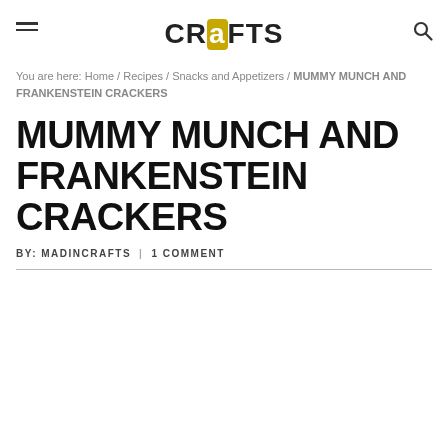CRaFTS
You are here: Home / Recipes / Snacks and Appetizers / MUMMY MUNCH AND FRANKENSTEIN CRACKERS
MUMMY MUNCH AND FRANKENSTEIN CRACKERS
BY: MADINCRAFTS | 1 COMMENT